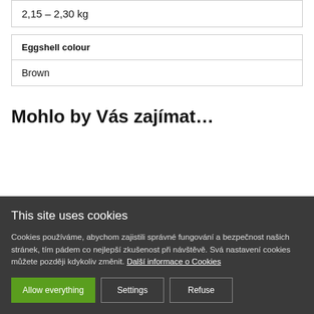| 2,15 – 2,30 kg |
| Eggshell colour |
| --- |
| Brown |
Mohlo by Vás zajímat...
This site uses cookies
Cookies používáme, abychom zajistili správné fungování a bezpečnost našich stránek, tím pádem co nejlepší zkušenost při návštěvě. Svá nastavení cookies můžete později kdykoliv změnit. Další informace o Cookies
Allow everything | Settings | Refuse